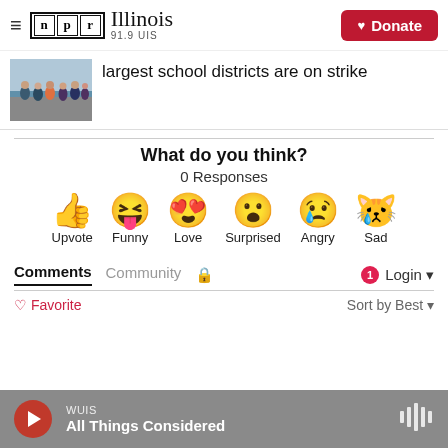NPR Illinois 91.9 UIS — Donate
[Figure (photo): Photo of people walking/marching on a street, appears to be a strike or protest scene]
largest school districts are on strike
What do you think?
0 Responses
[Figure (infographic): Six emoji reaction buttons: Upvote (thumbs up), Funny (laughing face with tongue), Love (heart eyes), Surprised (open mouth), Angry (crying face), Sad (sad face with tear)]
Comments  Community  🔒  1  Login
♡ Favorite   Sort by Best ▾
WUIS All Things Considered